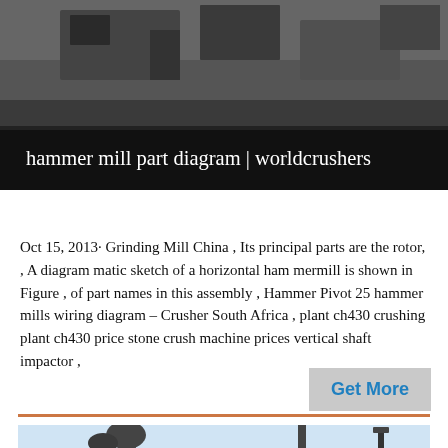[Figure (photo): Top photo of industrial equipment/machinery on a rooftop or outdoor setting, dark tones]
hammer mill part diagram | worldcrushers
Oct 15, 2013· Grinding Mill China , Its principal parts are the rotor, , A diagram matic sketch of a horizontal ham mermill is shown in Figure , of part names in this assembly , Hammer Pivot 25 hammer mills wiring diagram – Crusher South Africa , plant ch430 crushing plant ch430 price stone crush machine prices vertical shaft impactor ,
[Figure (photo): Bottom photo showing industrial mill or crusher equipment against a light sky background]